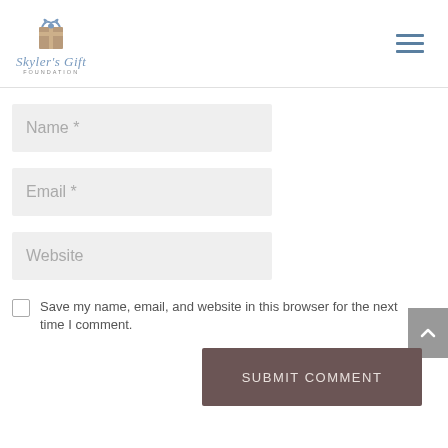[Figure (logo): Skyler's Gift Foundation logo with gift box icon and script text]
[Figure (other): Hamburger menu icon with three horizontal lines]
Name *
Email *
Website
Save my name, email, and website in this browser for the next time I comment.
SUBMIT COMMENT